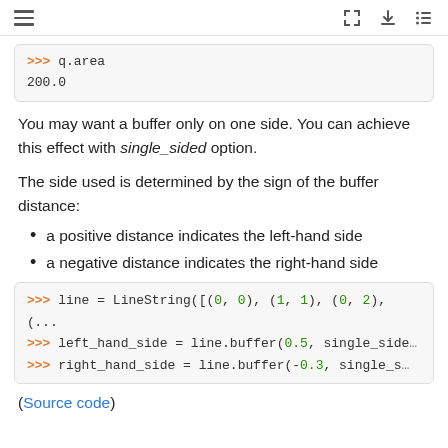navigation icons
>>> q.area
200.0
You may want a buffer only on one side. You can achieve this effect with single_sided option.
The side used is determined by the sign of the buffer distance:
a positive distance indicates the left-hand side
a negative distance indicates the right-hand side
>>> line = LineString([(0, 0), (1, 1), (0, 2), (
>>> left_hand_side = line.buffer(0.5, single_side
>>> right_hand_side = line.buffer(-0.3, single_s
(Source code)